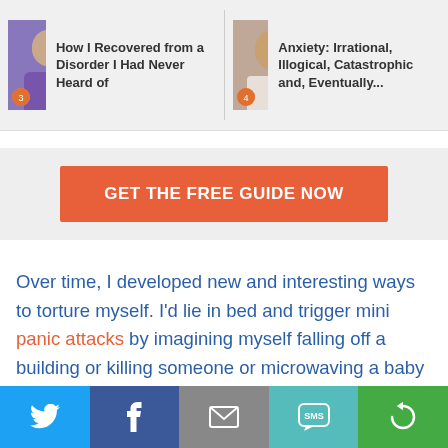[Figure (screenshot): Two article thumbnail previews in a navigation strip. Left: person in purple top with text 'How I Recovered from a Disorder I Had Never Heard of'. Right: woman in white with text 'Anxiety: Irrational, Illogical, Catastrophic and, Eventually...']
GET THE FREE GUIDE NOW
Over time, I developed new and interesting ways to torture myself. I’d lie in bed and trigger mini panic attacks by imagining myself falling off a building or killing someone or microwaving a baby or whatever the worst possible thing I could Imagine was that week. Each thought would tighten my chest, quicken my breathing and raise my heart rate so much so that my wife would be genuinely
[Figure (infographic): Social share bar with Twitter, Facebook, Email, SMS, and a circular arrow (share) icon buttons in different colors at the bottom of the page.]